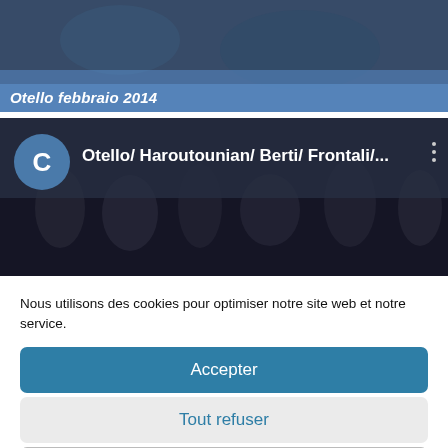[Figure (screenshot): Top screenshot showing a theatrical/opera performance scene with text overlay 'Otello febbraio 2014' on a blue-tinted banner]
[Figure (screenshot): Second screenshot showing a YouTube-style video thumbnail with dark background crowd scene, channel avatar 'C', and title 'Otello/ Haroutounian/ Berti/ Frontali/...' with three-dot menu]
Nous utilisons des cookies pour optimiser notre site web et notre service.
Accepter
Tout refuser
Préférences
Privacy Policy   Legal